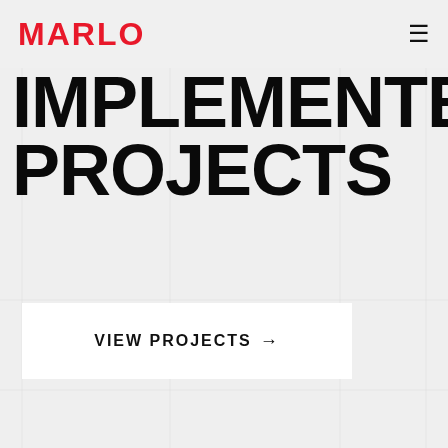MARLO
IMPLEMENTED PROJECTS
VIEW PROJECTS →